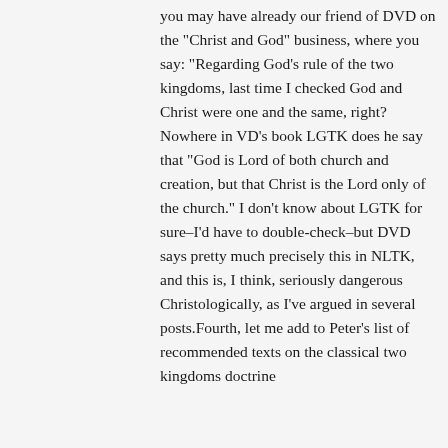you may have already our friend of DVD on the "Christ and God" business, where you say: "Regarding God's rule of the two kingdoms, last time I checked God and Christ were one and the same, right? Nowhere in VD's book LGTK does he say that "God is Lord of both church and creation, but that Christ is the Lord only of the church." I don't know about LGTK for sure–I'd have to double-check–but DVD says pretty much precisely this in NLTK, and this is, I think, seriously dangerous Christologically, as I've argued in several posts. Fourth, let me add to Peter's list of recommended texts on the classical two kingdoms doctrine